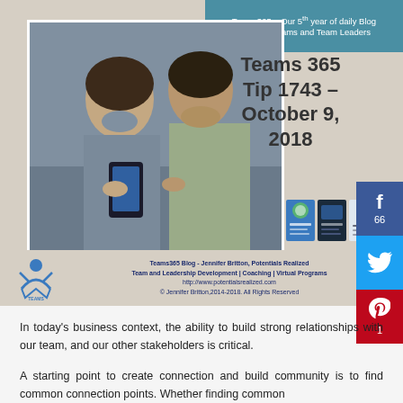[Figure (photo): Teams365 blog header image showing two people looking at a smartphone together, with teal banner, tip title, book covers, logo, and social share buttons (Facebook 66, Twitter, Pinterest 1)]
In today's business context, the ability to build strong relationships with our team, and our other stakeholders is critical.
A starting point to create connection and build community is to find common connection points. Whether finding common